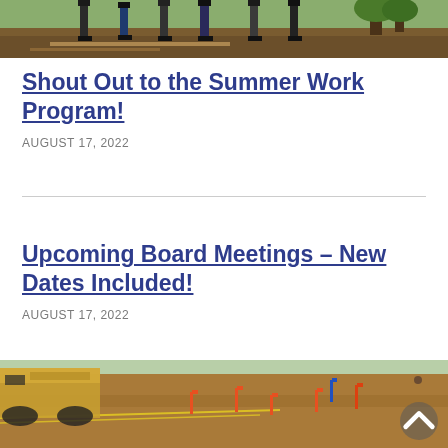[Figure (photo): Top partial photo showing people standing outdoors on dirt/mulch ground with trees in background]
Shout Out to the Summer Work Program!
AUGUST 17, 2022
Upcoming Board Meetings – New Dates Included!
AUGUST 17, 2022
[Figure (photo): Bottom partial photo showing a cleared dirt construction site with orange marker stakes and yellow caution tape, construction equipment visible at left]